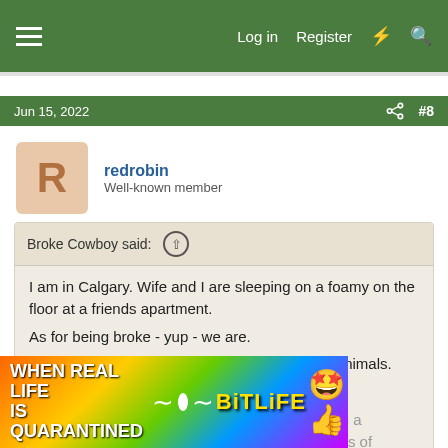Log in  Register
Jun 15, 2022  #8
redrobin
Well-known member
Broke Cowboy said: ↑
I am in Calgary. Wife and I are sleeping on a foamy on the floor at a friends apartment.
As for being broke - yup - we are.
Forced to sell the farm and the house and the animals.
Wiped out by the lib feds in Canada.
Been shot, stabbed, blown up, took two hits with a machette, flew F-18's and gave Canada 25 years of
Click to expand...
[Figure (screenshot): BitLife advertisement banner with rainbow gradient background, text WHEN REAL LIFE IS QUARANTINED, BitLife logo with emoji icons]